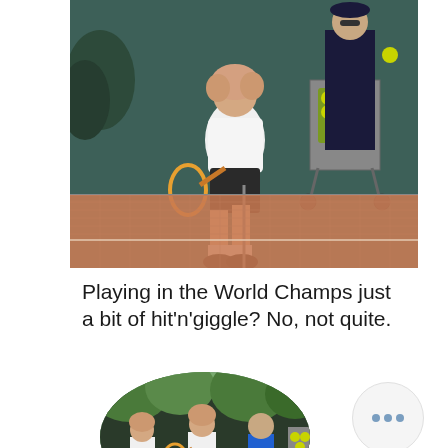[Figure (photo): A young male tennis player in a white shirt and dark shorts hitting a low shot on a clay court, with a coach or ball boy standing behind near a ball cart full of tennis balls. Green background wall behind them.]
Playing in the World Champs just a bit of hit'n'giggle? No, not quite.
[Figure (photo): An oval-cropped photo showing tennis players on a court with trees and a dark wall in the background, multiple players visible including one in white and one in blue.]